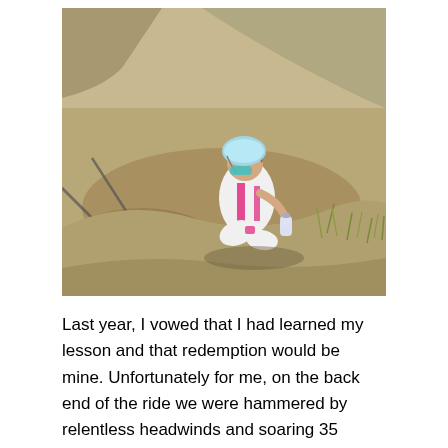[Figure (photo): A cyclist wearing a white and pink tri-suit and teal helmet sitting on dry dusty ground next to a bicycle, holding a water bottle. Desert/scrubland background with sparse dry grass.]
Last year, I vowed that I had learned my lesson and that redemption would be mine. Unfortunately for me, on the back end of the ride we were hammered by relentless headwinds and soaring 35 degree temperatures. I ran out of water and the delirium of heat